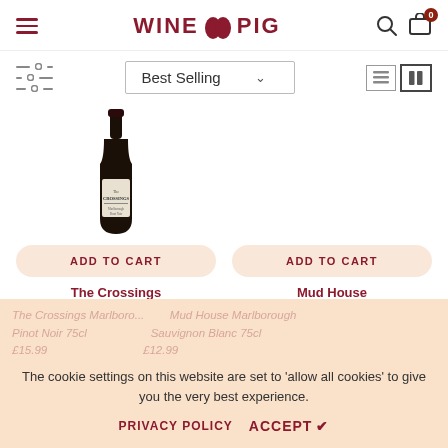[Figure (screenshot): Wine Pig e-commerce website header with hamburger menu, logo, search icon, and cart icon showing 0 items]
[Figure (infographic): Filter icon, Best Selling sort dropdown, list and grid view toggle icons]
[Figure (photo): Wine bottle product image for The Crossings]
ADD TO CART
ADD TO CART
The Crossings
Mud House
The Crossings Marlborough Pinot Noir 75cl
Mud House Marlborough Sauvignon Blanc 75cl
£15.99
£12.99
The cookie settings on this website are set to 'allow all cookies' to give you the very best experience.
PRIVACY POLICY
ACCEPT ✔